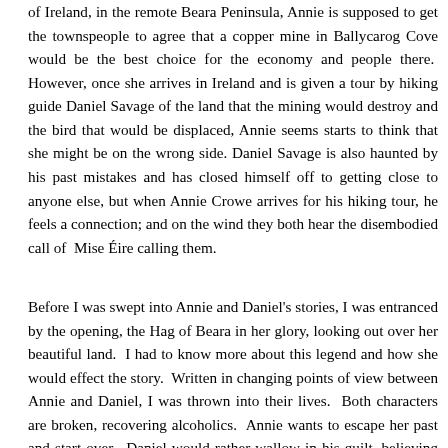of Ireland, in the remote Beara Peninsula, Annie is supposed to get the townspeople to agree that a copper mine in Ballycarog Cove would be the best choice for the economy and people there. However, once she arrives in Ireland and is given a tour by hiking guide Daniel Savage of the land that the mining would destroy and the bird that would be displaced, Annie seems starts to think that she might be on the wrong side. Daniel Savage is also haunted by his past mistakes and has closed himself off to getting close to anyone else, but when Annie Crowe arrives for his hiking tour, he feels a connection; and on the wind they both hear the disembodied call of Mise Éire calling them.
Before I was swept into Annie and Daniel's stories, I was entranced by the opening, the Hag of Beara in her glory, looking out over her beautiful land. I had to know more about this legend and how she would effect the story. Written in changing points of view between Annie and Daniel, I was thrown into their lives. Both characters are broken, recovering alcoholics. Annie wants to escape her past and start over. Daniel would rather wallow in his guilt, believing this is what he deserves. Through the writing and the voice on the wind, I was able to feel their immediate connection. The internal struggles in both